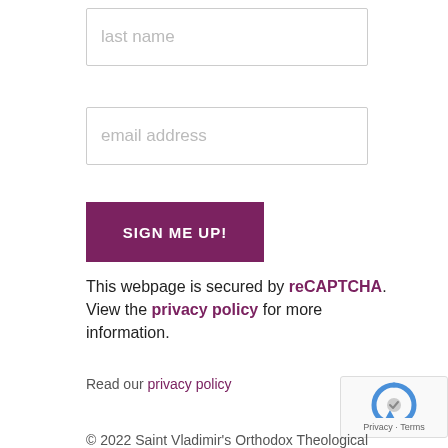last name
email address
SIGN ME UP!
This webpage is secured by reCAPTCHA. View the privacy policy for more information.
Read our privacy policy
© 2022 Saint Vladimir's Orthodox Theological